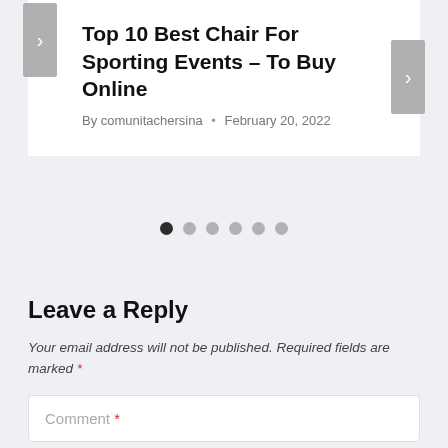Top 10 Best Chair For Sporting Events – To Buy Online
By comunitachersina • February 20, 2022
[Figure (other): Carousel navigation dots: 6 dots, first one active (dark), rest gray]
Leave a Reply
Your email address will not be published. Required fields are marked *
Comment *